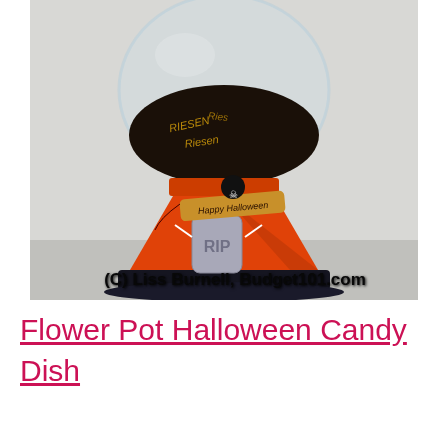[Figure (photo): A Halloween-themed flower pot candy dish: an orange terracotta flower pot inverted with a glass globe on top filled with dark Riesen chocolates. The pot is decorated with Halloween skeleton/pirate stickers and a 'Happy Halloween' banner tag. A 'RIP' tombstone decoration is on the front. Watermark reads '(C) Liss Burnell, Budget101.com'.]
Flower Pot Halloween Candy Dish